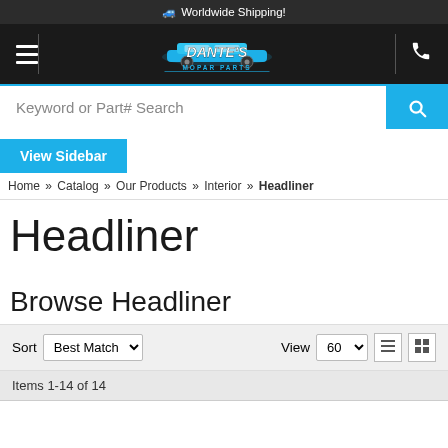🚚 Worldwide Shipping!
[Figure (logo): Dante's Mopar Parts logo with classic muscle car illustration]
Keyword or Part# Search
View Sidebar
Home » Catalog » Our Products » Interior » Headliner
Headliner
Browse Headliner
Sort Best Match ▼  View 60 ▼
Items 1-14 of 14